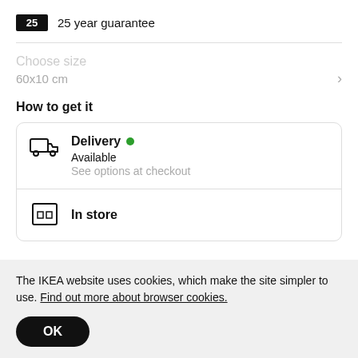25  25 year guarantee
Choose size
60x10 cm
How to get it
Delivery • Available
See options at checkout
In store
The IKEA website uses cookies, which make the site simpler to use. Find out more about browser cookies.
OK